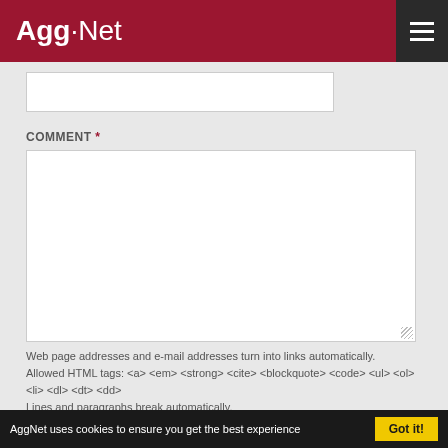AggNet
COMMENT *
Web page addresses and e-mail addresses turn into links automatically.
Allowed HTML tags: <a> <em> <strong> <cite> <blockquote> <code> <ul> <ol> <li> <dl> <dt> <dd>
Lines and paragraphs break automatically.
SAVE
AggNet uses cookies to ensure you get the best experience  Got it!